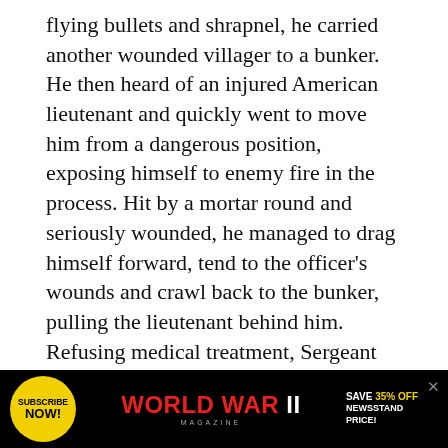flying bullets and shrapnel, he carried another wounded villager to a bunker. He then heard of an injured American lieutenant and quickly went to move him from a dangerous position, exposing himself to enemy fire in the process. Hit by a mortar round and seriously wounded, he managed to drag himself forward, tend to the officer's wounds and crawl back to the bunker, pulling the lieutenant behind him. Refusing medical treatment, Sergeant Beikirch made seven more trips through enemy fire to retrieve the wounded.

While dragging a civilian to safety, Beikirch was hit by an exploding rocket that drove shrapnel through his back and out through his abdomen. Nonetheless, he continued working, finally
[Figure (other): Advertisement banner for World War II Magazine. Black background with yellow circle containing 'SUBSCRIBE NOW!' text, red and white 'WORLD WAR II' magazine title, and 'SAVE 35% OFF NEWSSTAND PRICE!' text in yellow and white.]